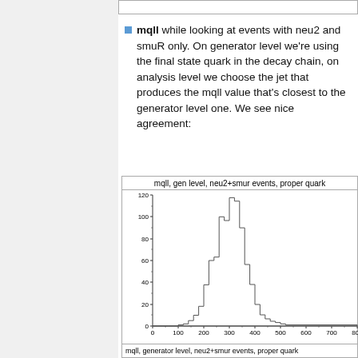mqll while looking at events with neu2 and smuR only. On generator level we're using the final state quark in the decay chain, on analysis level we choose the jet that produces the mqll value that's closest to the generator level one. We see nice agreement:
[Figure (histogram): mqll, gen level, neu2+smur events, proper quark]
mqll, generator level, neu2+smur events, proper quark